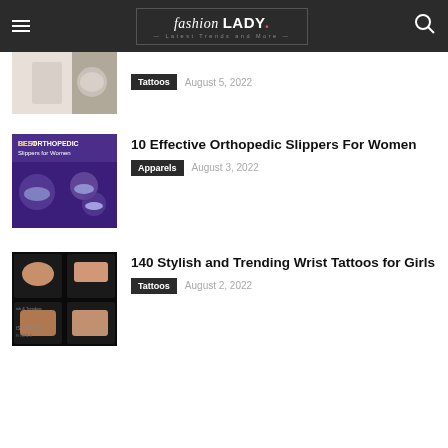fashion LADY — Latest Trends and More
[Figure (screenshot): Partial thumbnail of tattoo-related article, appears to show a medical/tattoo procedure on skin]
Tattoos  August 5, 2022
[Figure (screenshot): Best Orthopedic Slippers for Women article thumbnail with purple background showing slippers]
10 Effective Orthopedic Slippers For Women
Apparels  August 3, 2022
[Figure (screenshot): 140 Stylish and Trending Wrist Tattoos for Girls article thumbnail with dark background]
140 Stylish and Trending Wrist Tattoos for Girls
Tattoos  August 2, 2022